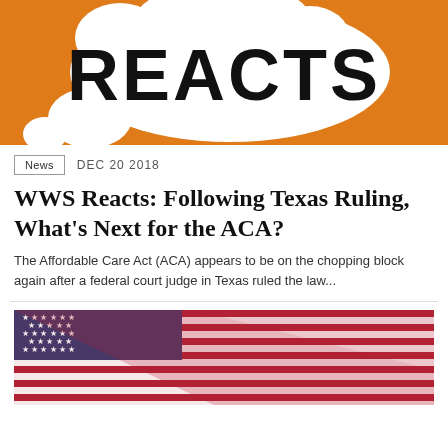[Figure (illustration): Orange background with white thought/speech bubbles and bold 'REACTS' text in black on top of the bubbles]
News   DEC 20 2018
WWS Reacts: Following Texas Ruling, What's Next for the ACA?
The Affordable Care Act (ACA) appears to be on the chopping block again after a federal court judge in Texas ruled the law...
[Figure (photo): Close-up photo of American flags draped/folded, showing red and white stripes and blue field with white stars]